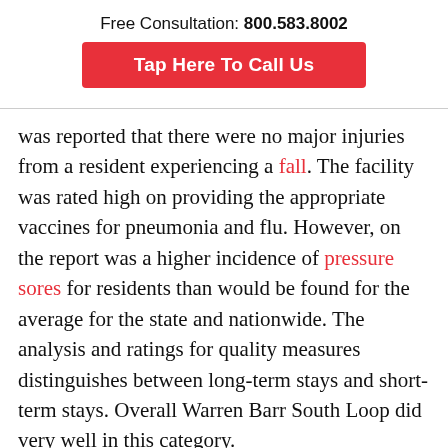Free Consultation: 800.583.8002
Tap Here To Call Us
was reported that there were no major injuries from a resident experiencing a fall. The facility was rated high on providing the appropriate vaccines for pneumonia and flu. However, on the report was a higher incidence of pressure sores for residents than would be found for the average for the state and nationwide. The analysis and ratings for quality measures distinguishes between long-term stays and short-term stays. Overall Warren Barr South Loop did very well in this category.
It is always very important for families